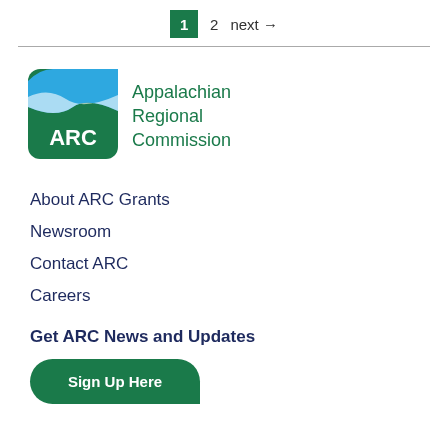1  2  next →
[Figure (logo): Appalachian Regional Commission (ARC) logo — green rounded square with white ARC text and blue/white wave graphic on top]
Appalachian Regional Commission
About ARC Grants
Newsroom
Contact ARC
Careers
Get ARC News and Updates
Sign Up Here